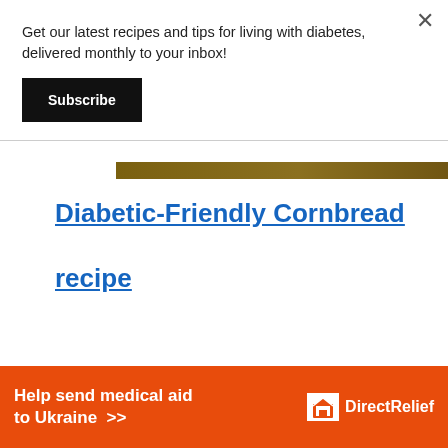Get our latest recipes and tips for living with diabetes, delivered monthly to your inbox!
Subscribe
Diabetic-Friendly Cornbread recipe
[Figure (photo): Brown/gold image strip showing top of cornbread]
Help send medical aid to Ukraine >>
[Figure (logo): Direct Relief logo on orange banner]